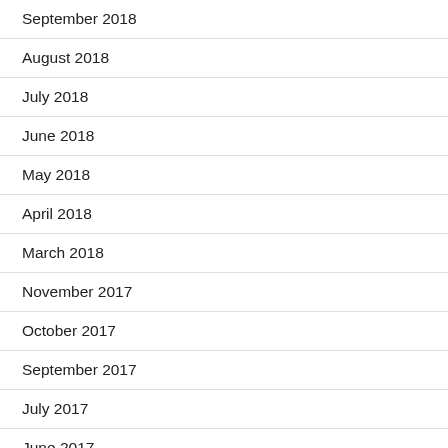September 2018
August 2018
July 2018
June 2018
May 2018
April 2018
March 2018
November 2017
October 2017
September 2017
July 2017
June 2017
May 2017